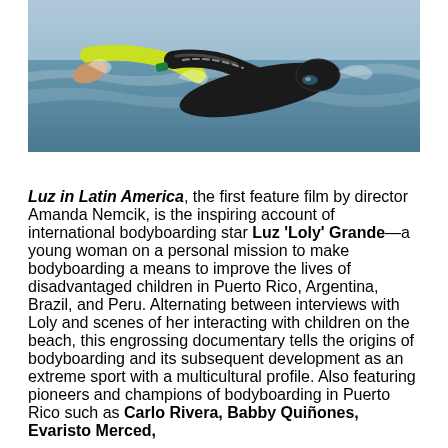[Figure (photo): Swimmer in open water wearing a black and yellow wetsuit with green arm extension, swimming freestyle with one arm outstretched.]
Luz in Latin America, the first feature film by director Amanda Nemcik, is the inspiring account of international bodyboarding star Luz 'Loly' Grande—a young woman on a personal mission to make bodyboarding a means to improve the lives of disadvantaged children in Puerto Rico, Argentina, Brazil, and Peru. Alternating between interviews with Loly and scenes of her interacting with children on the beach, this engrossing documentary tells the origins of bodyboarding and its subsequent development as an extreme sport with a multicultural profile. Also featuring pioneers and champions of bodyboarding in Puerto Rico such as Carlo Rivera, Babby Quiñones, Evaristo Merced,